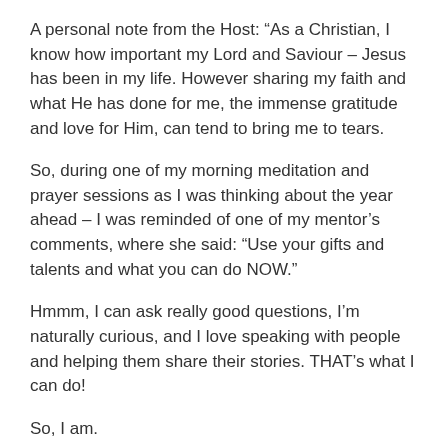A personal note from the Host: “As a Christian, I know how important my Lord and Saviour – Jesus has been in my life. However sharing my faith and what He has done for me, the immense gratitude and love for Him, can tend to bring me to tears.
So, during one of my morning meditation and prayer sessions as I was thinking about the year ahead – I was reminded of one of my mentor’s comments, where she said: “Use your gifts and talents and what you can do NOW.”
Hmmm, I can ask really good questions, I’m naturally curious, and I love speaking with people and helping them share their stories. THAT’s what I can do!
So, I am.
Welcome to The Christian Entrepreneurs Podcast.